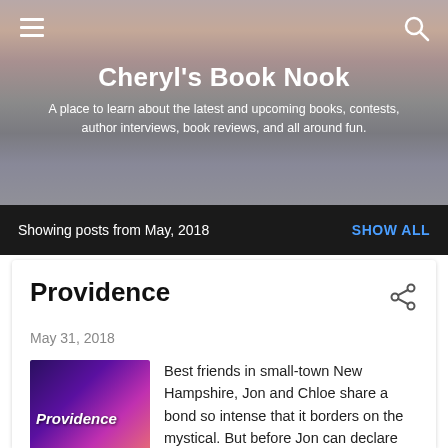Cheryl's Book Nook
A place to learn about the latest and upcoming books, contests, author interviews, book reviews, and all around fun.
Showing posts from May, 2018
SHOW ALL
Providence
May 31, 2018
[Figure (photo): Book cover of 'Providence' novel with colorful gradient background and author name Caroline]
Best friends in small-town New Hampshire, Jon and Chloe share a bond so intense that it borders on the mystical. But before Jon can declare his love for his soul mate, he is kidnapped, his plans for a normal life